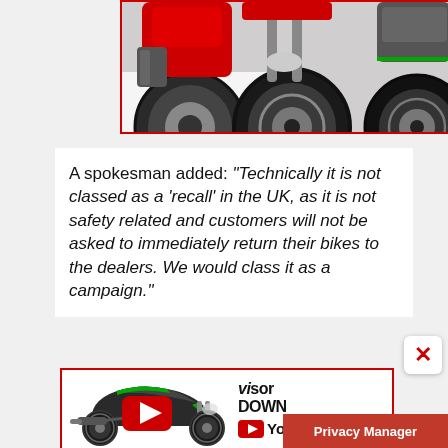[Figure (photo): Motorcycles photo showing front wheels and lower body of multiple bikes, with red border]
A spokesman added: "Technically it is not classed as a 'recall' in the UK, as it is not safety related and customers will not be asked to immediately return their bikes to the dealers. We would class it as a campaign."
[Figure (screenshot): Visordown YouTube channel advertisement banner showing a Kawasaki Z1000 motorcycle with YouTube play button overlay, VisorDown logo, and YouTube branding]